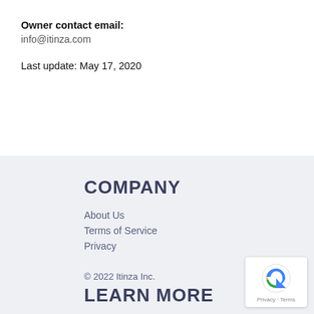Owner contact email:
info@itinza.com
Last update: May 17, 2020
COMPANY
About Us
Terms of Service
Privacy
© 2022 Itinza Inc.
LEARN MORE